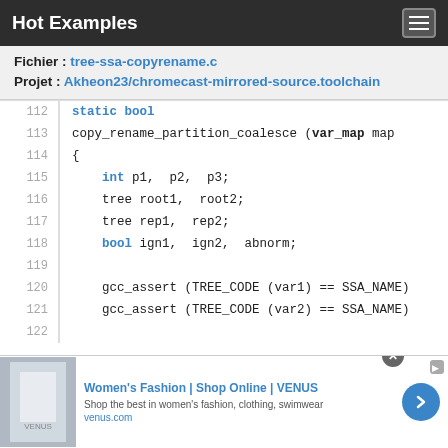Hot Examples
Fichier : tree-ssa-copyrename.c
Projet : Akheon23/chromecast-mirrored-source.toolchain
[Figure (screenshot): C source code listing lines 112-122 showing static bool copy_rename_partition_coalesce function definition with variable declarations and gcc_assert calls]
[Figure (infographic): Advertisement banner for Women's Fashion at VENUS (venus.com) with shop image and arrow button]